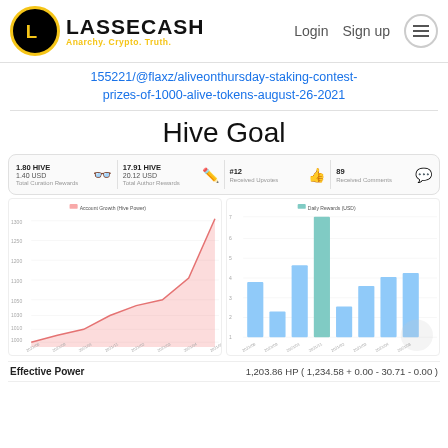LASSECASH - Anarchy. Crypto. Truth. | Login | Sign up
155221/@flaxz/aliveonthursday-staking-contest-prizes-of-1000-alive-tokens-august-26-2021
Hive Goal
[Figure (infographic): Stats bar showing: 1.80 HIVE / 1.40 USD Total Curation Rewards, 17.91 HIVE / 20.12 USD Total Author Rewards, #12 Received Upvotes, 89 Received Comments]
[Figure (area-chart): Account Growth (Hive Power)]
[Figure (bar-chart): Daily Rewards (USD)]
| Effective Power | 1,203.86 HP (1,234.58 + 0.00 - 30.71 - 0.00) |
| --- | --- |